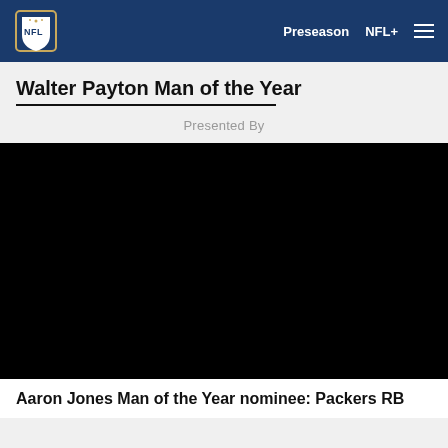Preseason  NFL+  ☰
Walter Payton Man of the Year
Presented By
[Figure (screenshot): Black video player area for Walter Payton Man of the Year content]
Aaron Jones Man of the Year nominee: Packers RB